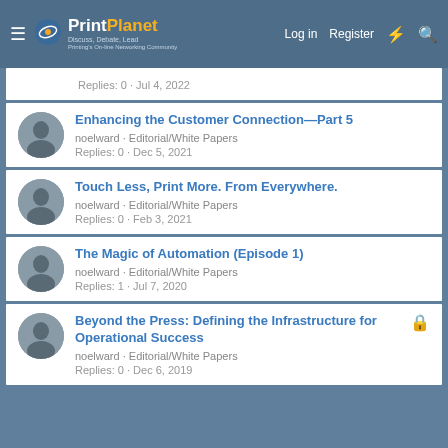PrintPlanet – Discuss, Debate, Lead – Printing's On-line Networking Community | Log in | Register
Replies: 0 · Jul 4, 2022
Enhancing the Customer Connection—Part 5
noelward · Editorial/White Papers
Replies: 0 · Dec 5, 2021
Touch Less, Print More. From Everywhere.
noelward · Editorial/White Papers
Replies: 0 · Feb 3, 2021
The Magic of Automation (Episode 1)
noelward · Editorial/White Papers
Replies: 1 · Jul 7, 2020
Beyond the Press: Defining the Infrastructure for Operational Success
noelward · Editorial/White Papers
Replies: 0 · Dec 6, 2019